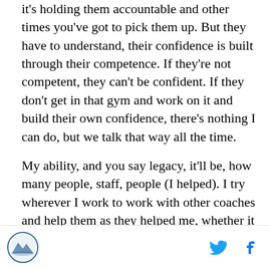it's holding them accountable and other times you've got to pick them up. But they have to understand, their confidence is built through their competence. If they're not competent, they can't be confident. If they don't get in that gym and work on it and build their own confidence, there's nothing I can do, but we talk that way all the time.
My ability, and you say legacy, it'll be, how many people, staff, people (I helped). I try wherever I work to work with other coaches and help them as they helped me, whether it be the athletic directors that I've worked for who still call me once a week, to presidents of the universities that know what we did. It's more than just winning a game for me and trying to win every game
[logo] [twitter] [facebook]